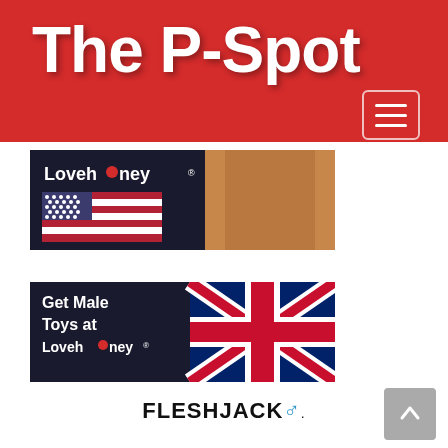The P-Spot
[Figure (screenshot): Lovehoney US banner ad: dark background with Lovehoney logo and US flag, male torso visible on right side]
[Figure (screenshot): Lovehoney UK banner ad: dark background with 'Get Male Toys at Lovehoney' text and UK Union Jack flag]
[Figure (logo): Fleshjack logo in bold black text with blue male symbol arrow]